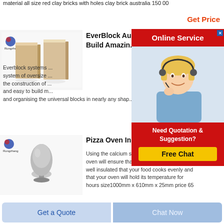material all size red clay bricks with holes clay brick australia 150 00
Get Price
[Figure (photo): Two pale yellow/beige rectangular bricks standing upright, Rongsheng brand logo top left]
EverBlock Au... Build Amazin...
Everblock systems ... system of oversize ... the construction of ... and easy to build m... and organising the universal blocks in nearly any shap...
[Figure (infographic): Online Service popup overlay with red banner, customer service representative woman with headset, Need Quotation & Suggestion? section with Free Chat button]
[Figure (photo): Grey powder material shaped into a cone/egg shape on a stand, Rongsheng brand logo top left]
Pizza Oven In...
Using the calcium s... oven will ensure that the floor of the oven is well insulated that your food cooks evenly and that your oven will hold its temperature for hours size1000mm x 610mm x 25mm price 65
Get a Quote
Chat Now